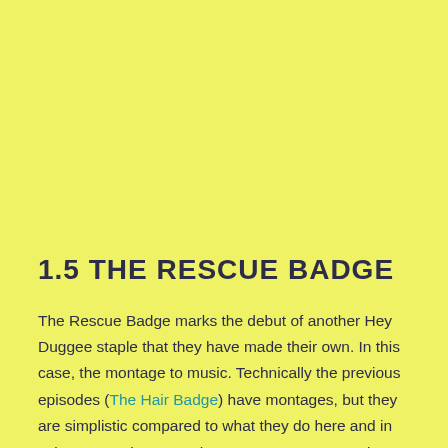1.5 THE RESCUE BADGE
The Rescue Badge marks the debut of another Hey Duggee staple that they have made their own. In this case, the montage to music. Technically the previous episodes (The Hair Badge) have montages, but they are simplistic compared to what they do here and in subsequent chapters. These montages are used to move the action forward by briefly checking in with each character as